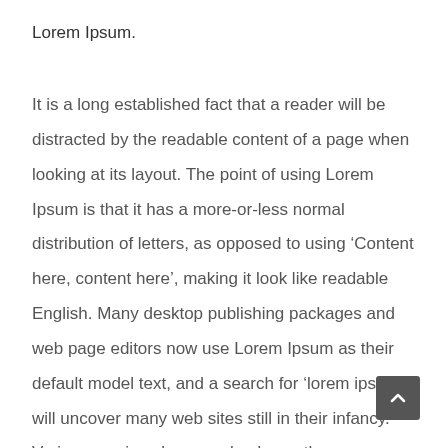Lorem Ipsum.
It is a long established fact that a reader will be distracted by the readable content of a page when looking at its layout. The point of using Lorem Ipsum is that it has a more-or-less normal distribution of letters, as opposed to using ‘Content here, content here’, making it look like readable English. Many desktop publishing packages and web page editors now use Lorem Ipsum as their default model text, and a search for ‘lorem ipsum’ will uncover many web sites still in their infancy. Various versions have evolved over the years, sometimes by accident, sometimes on purpose (injected humour and the like).